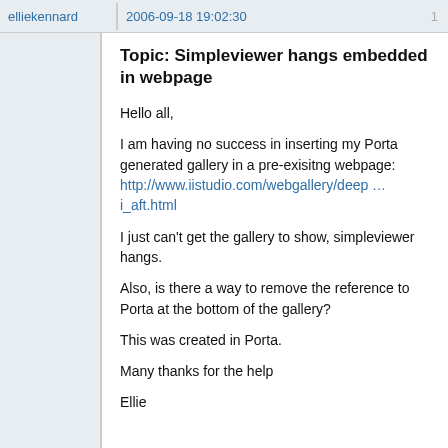elliekennard   2006-09-18 19:02:30   1
Topic: Simpleviewer hangs embedded in webpage
Hello all,
I am having no success in inserting my Porta generated gallery in a pre-exisitng webpage: http://www.iistudio.com/webgallery/deep … i_aft.html
I just can't get the gallery to show, simpleviewer hangs.
Also, is there a way to remove the reference to Porta at the bottom of the gallery?
This was created in Porta.
Many thanks for the help
Ellie